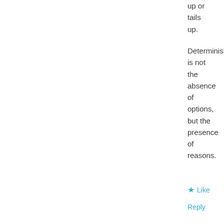up or tails up.
Determinism is not the absence of options, but the presence of reasons.
★ Like
Reply